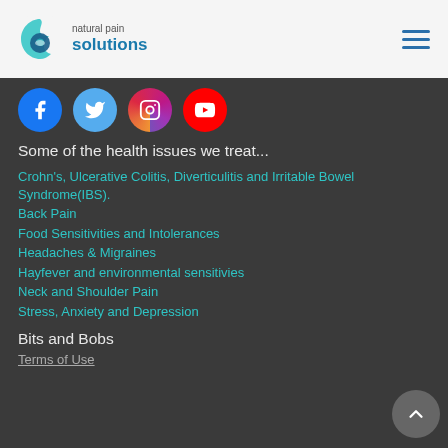natural pain solutions
[Figure (logo): Natural Pain Solutions logo with circular water/leaf icon and text 'natural pain solutions']
[Figure (infographic): Social media icons row: Facebook (blue circle), Twitter (light blue circle), Instagram (gradient circle), YouTube (red circle)]
Some of the health issues we treat...
Crohn's, Ulcerative Colitis, Diverticulitis and Irritable Bowel Syndrome(IBS).
Back Pain
Food Sensitivities and Intolerances
Headaches & Migraines
Hayfever and environmental sensitivies
Neck and Shoulder Pain
Stress, Anxiety and Depression
Bits and Bobs
Terms of Use